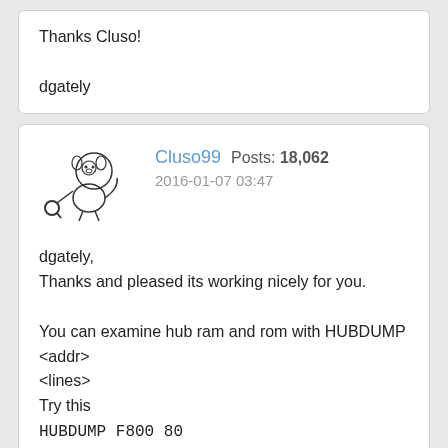Thanks Cluso!

dgately
Cluso99   Posts: 18,062
2016-01-07 03:47
dgately,
Thanks and pleased its working nicely for you.

You can examine hub ram and rom with HUBDUMP <addr> <lines>
Try this
HUBDUMP F800 80
You will see the Parallax copyright message and web address.

I am going to expand this command (or add a new one) to be able to modify hub ram too, like I did with my P2 debugger before P2Hot.